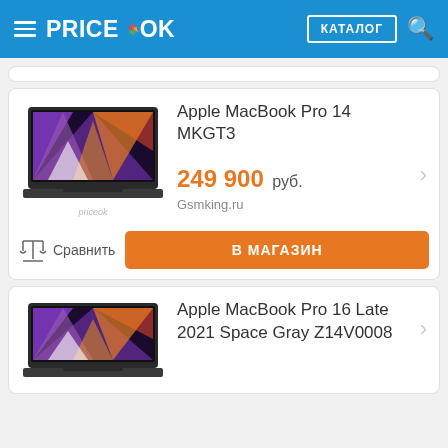PRICEOK — КАТАЛОГ
Apple MacBook Pro 14 MKGT3
249 900 руб.
Gsmking.ru
Сравнить
В МАГАЗИН
Apple MacBook Pro 16 Late 2021 Space Gray Z14V0008
[Figure (photo): Apple MacBook Pro 14 laptop product image showing colorful abstract wallpaper on screen]
[Figure (photo): Apple MacBook Pro 16 laptop product image showing colorful abstract wallpaper on screen]